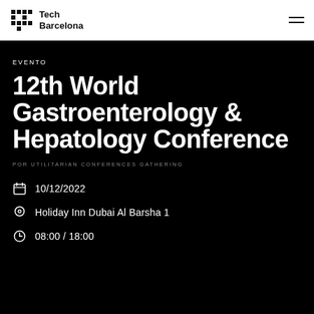Tech Barcelona
EVENTO
12th World Gastroenterology & Hepatology Conference
POR UTILITARIAN CONFERENCES GATHERING
10/12/2022
Holiday Inn Dubai Al Barsha 1
08:00 / 18:00